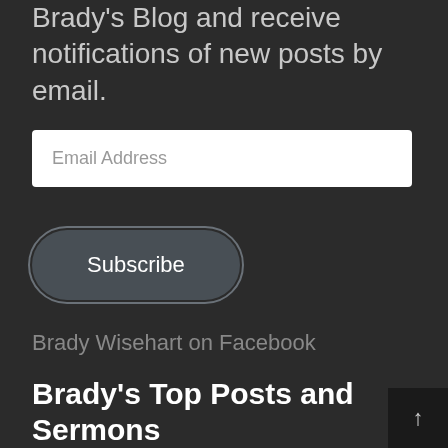Brady's Blog and receive notifications of new posts by email.
Email Address
Subscribe
Brady Wisehart on Facebook
Brady's Top Posts and Sermons